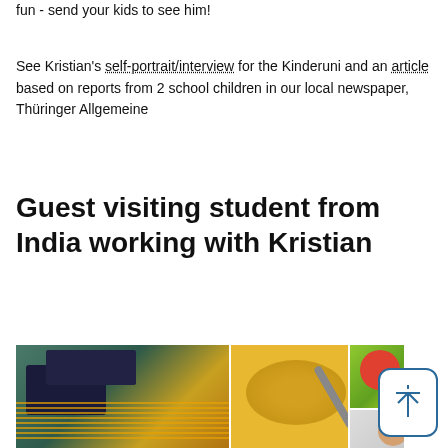fun - send your kids to see him!
See Kristian's self-portrait/interview for the Kinderuni and an article based on reports from 2 school children in our local newspaper, Thüringer Allgemeine
Guest visiting student from India working with Kristian
[Figure (photo): Three-panel photo strip: left panel shows electronics workbench with wires and oscilloscope on green mat; middle panel shows food (yellow noodle/pasta dish) with spoon; right panel top shows colorful cartoon/artwork, bottom shows two people (portrait photo).]
We had a student from the Indian Institute of Technology Roorkee visiting to spend an internship with us from mid May to mid July. Purnendu (Master student in Physics) worked